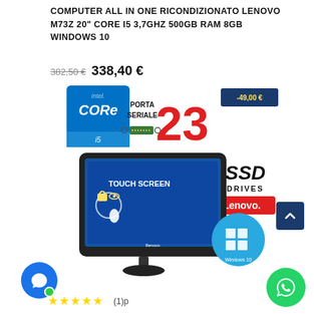COMPUTER ALL IN ONE RICONDIZIONATO LENOVO M73Z 20" CORE I5 3,7GHZ 500GB RAM 8GB WINDOWS 10
382,50 € 338,40 €
[Figure (photo): Product promotional image of Lenovo M73Z All-in-One PC with touch screen, showing Intel Core i5 badge, PORTA SERIALE label, -49,00€ discount badge, number 23, SSD DRIVES text, Lenovo logo, Windows 10 logo circle, and TOUCH SCREEN text on monitor]
(1)p